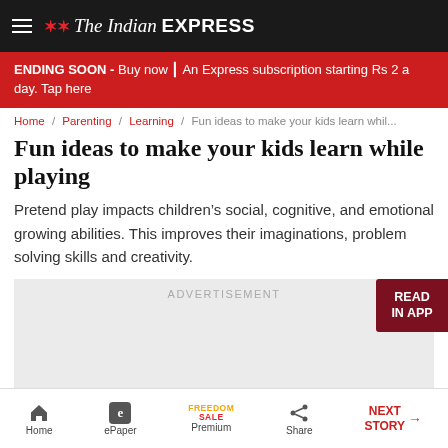The Indian EXPRESS
ENDING SOON - Buy now | An Express subscription starting Rs 2 a day. Tap here
Home / Parenting / Learning / Fun ideas to make your kids learn while
Fun ideas to make your kids learn while playing
Pretend play impacts children's social, cognitive, and emotional growing abilities. This improves their imaginations, problem solving skills and creativity.
[Figure (other): Advertisement placeholder area with grey background and ADVERTISEMENT label. READ IN APP button in dark red on the right.]
Home | ePaper | Premium (FREEDOM SALE) | Share | NEXT STORY